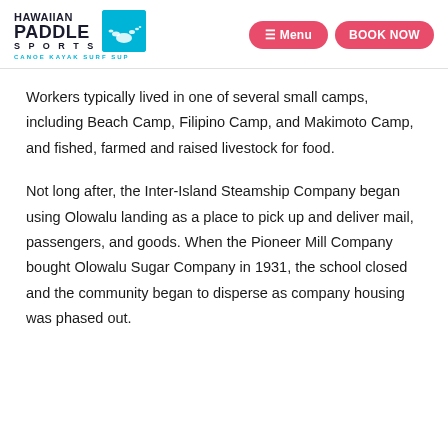HAWAIIAN PADDLE SPORTS — CANOE KAYAK SURF SUP | Menu | BOOK NOW
Workers typically lived in one of several small camps, including Beach Camp, Filipino Camp, and Makimoto Camp, and fished, farmed and raised livestock for food.
Not long after, the Inter-Island Steamship Company began using Olowalu landing as a place to pick up and deliver mail, passengers, and goods. When the Pioneer Mill Company bought Olowalu Sugar Company in 1931, the school closed and the community began to disperse as company housing was phased out.